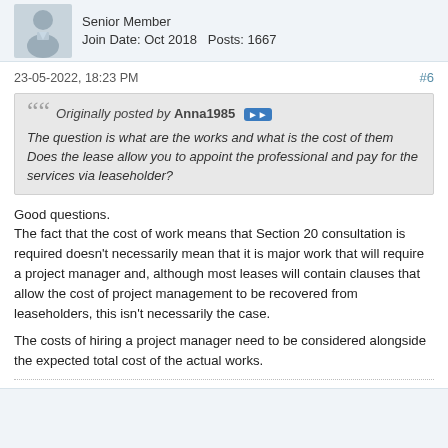Senior Member
Join Date: Oct 2018   Posts: 1667
23-05-2022, 18:23 PM   #6
Originally posted by Anna1985
The question is what are the works and what is the cost of them
Does the lease allow you to appoint the professional and pay for the services via leaseholder?
Good questions.
The fact that the cost of work means that Section 20 consultation is required doesn't necessarily mean that it is major work that will require a project manager and, although most leases will contain clauses that allow the cost of project management to be recovered from leaseholders, this isn't necessarily the case.

The costs of hiring a project manager need to be considered alongside the expected total cost of the actual works.